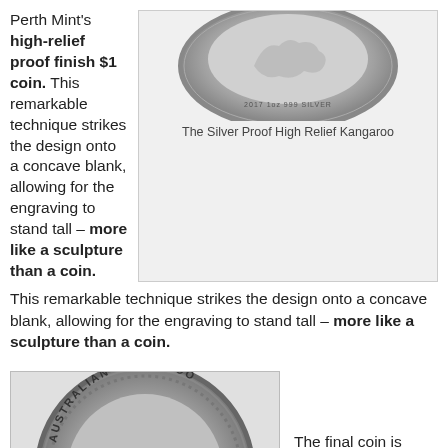Perth Mint's high-relief proof finish $1 coin. This remarkable technique strikes the design onto a concave blank, allowing for the engraving to stand tall – more like a sculpture than a coin.
[Figure (photo): A silver proof high relief kangaroo coin showing '2017 1oz 999 SILVER' inscription, photographed against a light background.]
The Silver Proof High Relief Kangaroo
[Figure (photo): A silver Australian Kangaroo coin with a gold-plated kangaroo design in the center, text reading 'AUSTRALIAN KANGAROO' around the rim.]
The final coin is the stunning